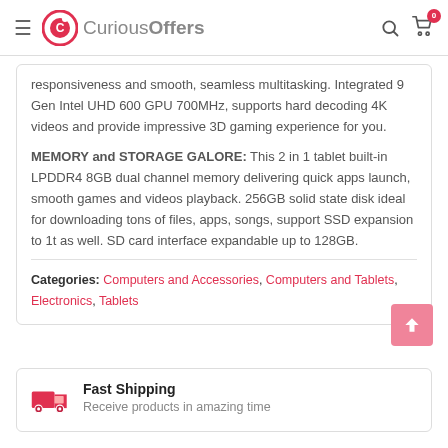CuriousOffers
responsiveness and smooth, seamless multitasking. Integrated 9 Gen Intel UHD 600 GPU 700MHz, supports hard decoding 4K videos and provide impressive 3D gaming experience for you.
MEMORY and STORAGE GALORE: This 2 in 1 tablet built-in LPDDR4 8GB dual channel memory delivering quick apps launch, smooth games and videos playback. 256GB solid state disk ideal for downloading tons of files, apps, songs, support SSD expansion to 1t as well. SD card interface expandable up to 128GB.
Categories: Computers and Accessories, Computers and Tablets, Electronics, Tablets
Fast Shipping
Receive products in amazing time